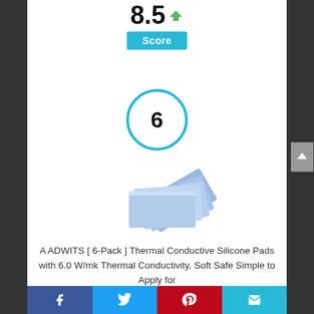[Figure (infographic): Score display showing '8.5' with a green checkmark chevron and a cyan 'Score' badge below]
[Figure (infographic): Rank number '6' inside a cyan circle]
[Figure (photo): Stack of blue thermal silicone pads fanned out]
A ADWITS [ 6-Pack ] Thermal Conductive Silicone Pads with 6.0 W/mk Thermal Conductivity, Soft Safe Simple to Apply for
Facebook | Twitter | Pinterest | Email social sharing bar